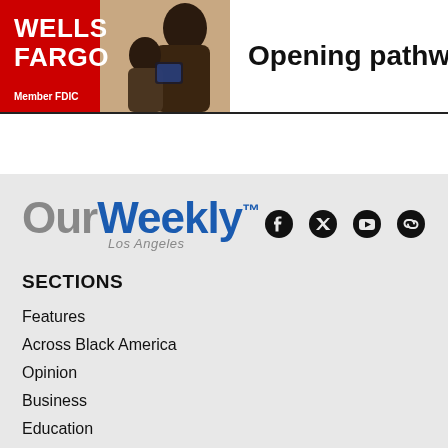[Figure (other): Wells Fargo advertisement banner showing logo on red background with a woman and child, and text 'Opening pathways']
[Figure (logo): OurWeekly Los Angeles logo with social media icons (Facebook, Twitter, YouTube, link)]
SECTIONS
Features
Across Black America
Opinion
Business
Education
Arts & Entertainment